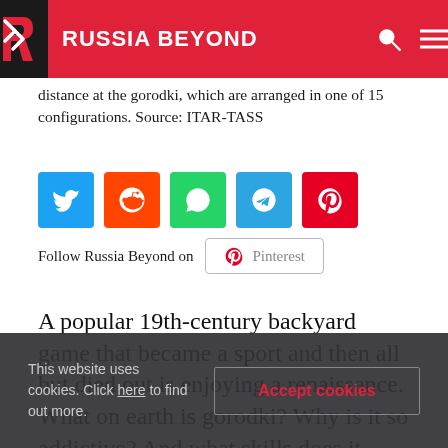RUSSIA BEYOND
distance at the gorodki, which are arranged in one of 15 configurations. Source: ITAR-TASS
[Figure (infographic): Social share buttons: Twitter, Reddit, WhatsApp, Telegram, Pinterest]
Follow Russia Beyond on  Pinterest
A popular 19th-century backyard game that became a sport and then all but died out is enjoying a renaissance. What on earth is gorodki? Why is it so addictive? And what skills does it develop?
This website uses cookies. Click here to find out more.
Accept cookies